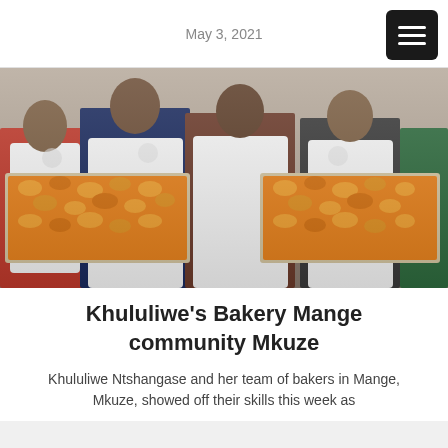May 3, 2021
[Figure (photo): Four people wearing white aprons holding large trays filled with orange-yellow baked goods (buns/rolls), standing in a bakery setting.]
Khululiwe’s Bakery Mange community Mkuze
Khululiwe Ntshangase and her team of bakers in Mange, Mkuze, showed off their skills this week as